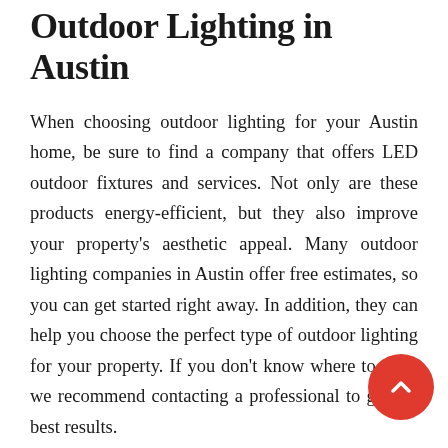Outdoor Lighting in Austin
When choosing outdoor lighting for your Austin home, be sure to find a company that offers LED outdoor fixtures and services. Not only are these products energy-efficient, but they also improve your property's aesthetic appeal. Many outdoor lighting companies in Austin offer free estimates, so you can get started right away. In addition, they can help you choose the perfect type of outdoor lighting for your property. If you don't know where to start, we recommend contacting a professional to get the best results.
How LED Outdoor Lighting Can Enhance Your Property